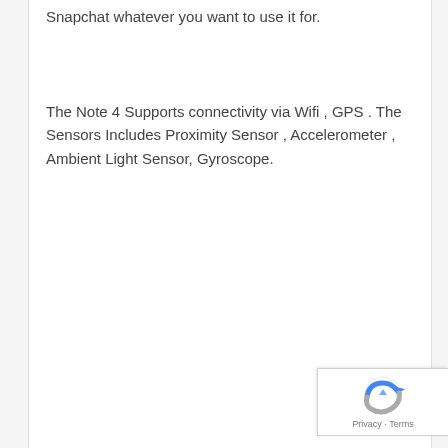Snapchat whatever you want to use it for.
The Note 4 Supports connectivity via Wifi , GPS . The Sensors Includes Proximity Sensor , Accelerometer , Ambient Light Sensor, Gyroscope.
[Figure (logo): Google reCAPTCHA badge with Privacy and Terms links]